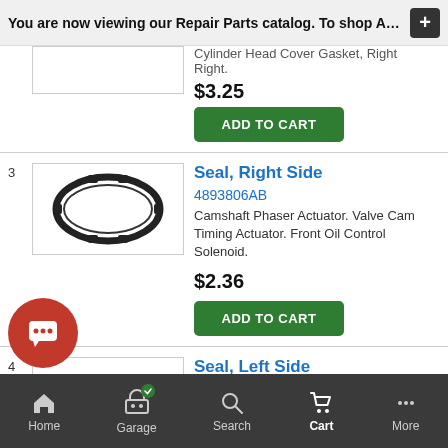You are now viewing our Repair Parts catalog. To shop Accessori
[Figure (screenshot): Partial product image placeholder (top item cut off)]
Cylinder Head Cover Gasket, Right Right.
$3.25
ADD TO CART
[Figure (photo): Black oval rubber seal/gasket ring for Camshaft Phaser Actuator]
Seal, Right Side
4893806AB
Camshaft Phaser Actuator. Valve Cam Timing Actuator. Front Oil Control Solenoid.
$2.36
ADD TO CART
[Figure (photo): Gray cylindrical seal part for Seal, Left Side]
Seal, Left Side
4893803AA
Home  Garage  Search  Cart  More